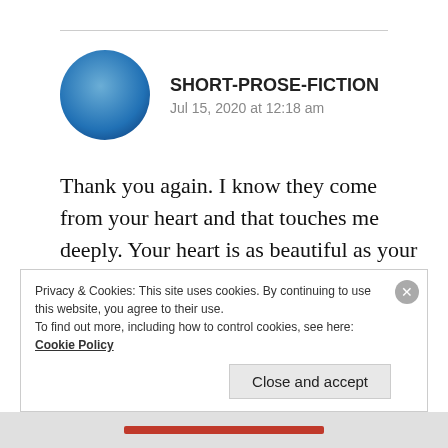[Figure (illustration): Circular blue gradient avatar representing a user profile photo for SHORT-PROSE-FICTION]
SHORT-PROSE-FICTION
Jul 15, 2020 at 12:18 am
Thank you again. I know they come from your heart and that touches me deeply. Your heart is as beautiful as your work. 🌹🤗💕🌸 ❤️
★ Liked by 1 person
Privacy & Cookies: This site uses cookies. By continuing to use this website, you agree to their use.
To find out more, including how to control cookies, see here: Cookie Policy
Close and accept